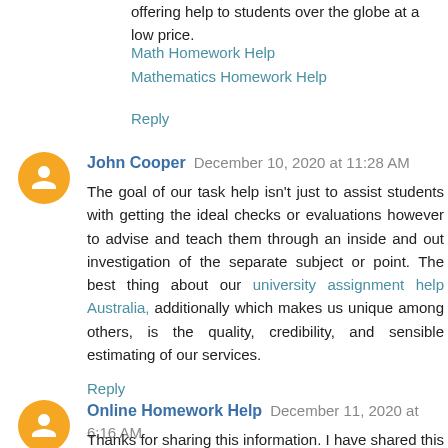offering help to students over the globe at a low price.
Math Homework Help
Mathematics Homework Help
Reply
John Cooper  December 10, 2020 at 11:28 AM
The goal of our task help isn't just to assist students with getting the ideal checks or evaluations however to advise and teach them through an inside and out investigation of the separate subject or point. The best thing about our university assignment help Australia, additionally which makes us unique among others, is the quality, credibility, and sensible estimating of our services.
Reply
Online Homework Help  December 11, 2020 at 6:16 AM
Thanks for sharing this information. I have shared this link